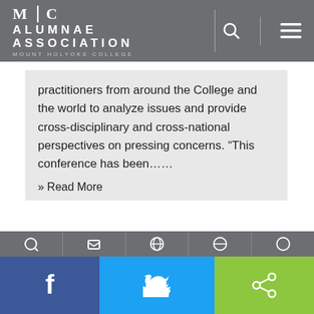MHC ALUMNAE ASSOCIATION MOUNT HOLYOKE COLLEGE
practitioners from around the College and the world to analyze issues and provide cross-disciplinary and cross-national perspectives on pressing concerns. “This conference has been……
» Read More
Social share bar: Facebook, Twitter, Share